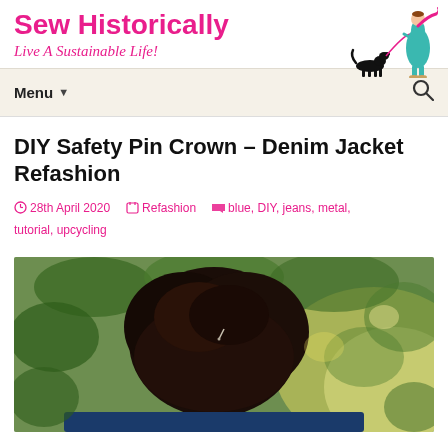Sew Historically
Live A Sustainable Life!
[Figure (illustration): Illustrated woman in teal dress walking a black dog on a leash, with pink scarf]
Menu ▼
DIY Safety Pin Crown – Denim Jacket Refashion
28th April 2020   Refashion   blue, DIY, jeans, metal, tutorial, upcycling
[Figure (photo): Back view of a person with dark hair in an updo bun, outdoors among green foliage, with sunlight in background]